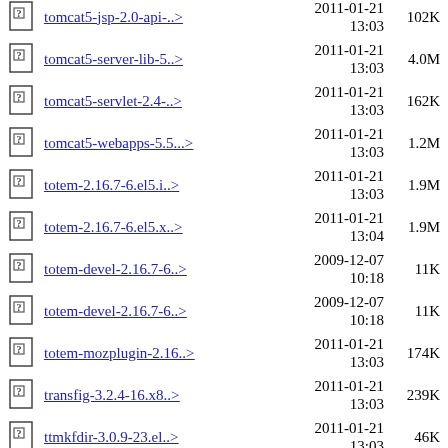tomcat5-jsp-2.0-api-..> 2011-01-21 13:03 102K
tomcat5-server-lib-5..> 2011-01-21 13:03 4.0M
tomcat5-servlet-2.4-..> 2011-01-21 13:03 162K
tomcat5-webapps-5.5...> 2011-01-21 13:03 1.2M
totem-2.16.7-6.el5.i..> 2011-01-21 13:03 1.9M
totem-2.16.7-6.el5.x..> 2011-01-21 13:04 1.9M
totem-devel-2.16.7-6..> 2009-12-07 10:18 11K
totem-devel-2.16.7-6..> 2009-12-07 10:18 11K
totem-mozplugin-2.16..> 2011-01-21 13:03 174K
transfig-3.2.4-16.x8..> 2011-01-21 13:03 239K
ttmkfdir-3.0.9-23.el..> 2011-01-21 13:03 46K
tzdata-2010e-1.el5.n..> 2011-01-21 794K